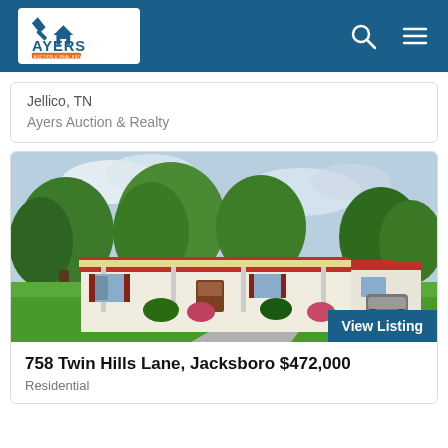Ayers Auction & Real Estate — navigation header
Jellico, TN
Ayers Auction & Realty
[Figure (photo): Exterior photo of a single-story white ranch house with a red metal roof, covered front porch, landscaped yard with green lawn and trees, and a curved driveway with a parked car visible.]
758 Twin Hills Lane, Jacksboro $472,000
Residential